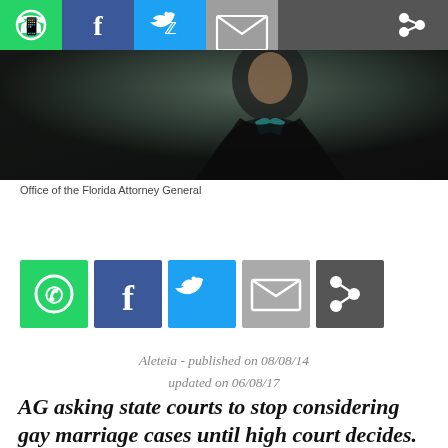[Figure (photo): Top social sharing bar with WhatsApp, Facebook, Twitter, email, and share buttons]
[Figure (photo): Photo of a person in a black suit, cropped — Office of the Florida Attorney General]
Office of the Florida Attorney General
[Figure (infographic): Social sharing buttons row: WhatsApp (green), Facebook (dark blue), Twitter (light blue), email (gray), share (dark gray)]
Aleteia - published on 08/08/14
updated on 06/08/17
AG asking state courts to stop considering gay marriage cases until high court decides.